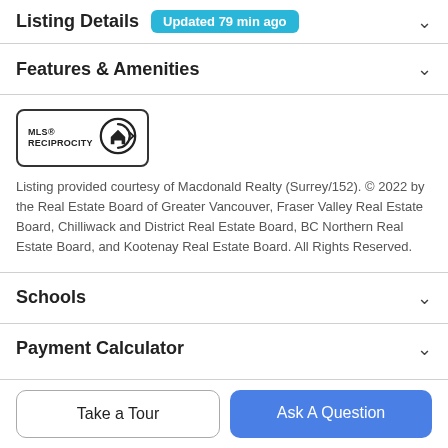Listing Details  Updated 79 min ago
Features & Amenities
[Figure (logo): MLS Reciprocity logo with house icon]
Listing provided courtesy of Macdonald Realty (Surrey/152). © 2022 by the Real Estate Board of Greater Vancouver, Fraser Valley Real Estate Board, Chilliwack and District Real Estate Board, BC Northern Real Estate Board, and Kootenay Real Estate Board. All Rights Reserved.
Schools
Payment Calculator
Take a Tour
Ask A Question